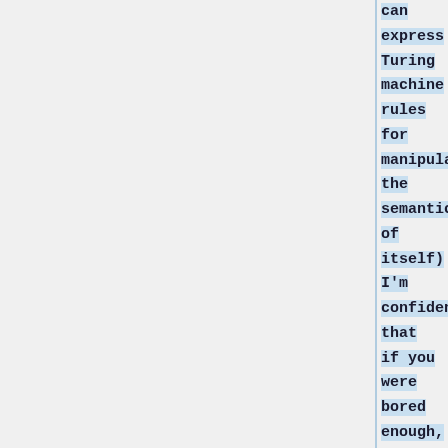can express Turing machine rules for manipulating the semantics of itself) I'm confident that if you were bored enough, you could describe, using [[Lojban]] (and maybe even just MEX), a Turing machine which